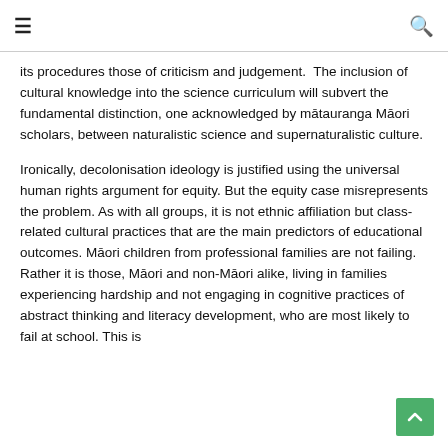≡  🔍
its procedures those of criticism and judgement.  The inclusion of cultural knowledge into the science curriculum will subvert the fundamental distinction, one acknowledged by mātauranga Māori scholars, between naturalistic science and supernaturalistic culture.
Ironically, decolonisation ideology is justified using the universal human rights argument for equity. But the equity case misrepresents the problem. As with all groups, it is not ethnic affiliation but class-related cultural practices that are the main predictors of educational outcomes. Māori children from professional families are not failing. Rather it is those, Māori and non-Māori alike, living in families experiencing hardship and not engaging in cognitive practices of abstract thinking and literacy development, who are most likely to fail at school. This is